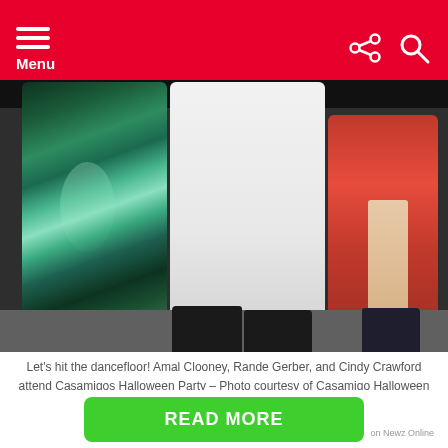Menu
[Figure (photo): Lower halves of three people at a Halloween party: a person in a green sequined dress, a person in white wide-leg pants with black platform shoes, and a person in a red dress with strappy heels.]
Let's hit the dancefloor! Amal Clooney, Rande Gerber, and Cindy Crawford attend Casamigos Halloween Party – Photo courtesy of Casamigo Halloween Party / Getty Images
With Adam leading on the drums they covered hits including “Highway to Hell”, “T.N.T”, and “You Shook Me All Night Long”. Get i…
READ MORE